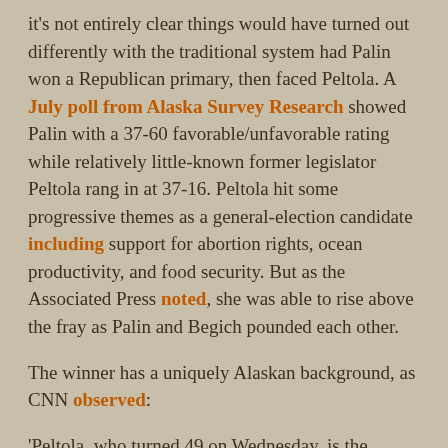it's not entirely clear things would have turned out differently with the traditional system had Palin won a Republican primary, then faced Peltola. A July poll from Alaska Survey Research showed Palin with a 37-60 favorable/unfavorable rating while relatively little-known former legislator Peltola rang in at 37-16. Peltola hit some progressive themes as a general-election candidate including support for abortion rights, ocean productivity, and food security. But as the Associated Press noted, she was able to rise above the fray as Palin and Begich pounded each other.
The winner has a uniquely Alaskan background, as CNN observed:
'Peltola, who turned 49 on Wednesday, is the daughter of a Yup'ik mother and a Nebraskan father who had moved north to teach school and later became a bush pilot.